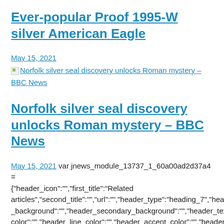Ever-popular Proof 1995-W silver American Eagle
May 15, 2021
Norfolk silver seal discovery unlocks Roman mystery – BBC News
Norfolk silver seal discovery unlocks Roman mystery – BBC News
May 15, 2021  var jnews_module_13737_1_60a00ad2d37a4 = {"header_icon":"","first_title":"Related articles","second_title":"","url":"","header_type":"heading_7","header_background":"","header_secondary_background":"","header_text_color":"","header_line_color":"","header_accent_color":"","header_filter_category":"","header_filter_author":"","header_filter_tag":"","header_filter_text":"All","post_type":"post","content_type":"all","number